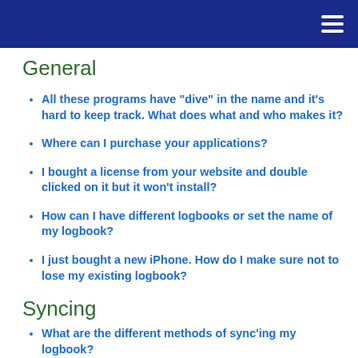General
All these programs have "dive" in the name and it's hard to keep track. What does what and who makes it?
Where can I purchase your applications?
I bought a license from your website and double clicked on it but it won't install?
How can I have different logbooks or set the name of my logbook?
I just bought a new iPhone. How do I make sure not to lose my existing logbook?
Syncing
What are the different methods of sync'ing my logbook?
How can I sync via WiFi when there is no WiFi